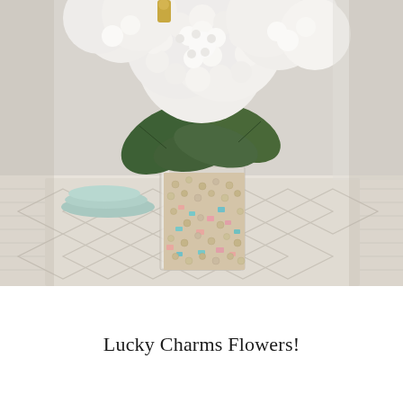[Figure (photo): A glass vase filled with Lucky Charms cereal (visible colorful marshmallow pieces and oat pieces) used as a vase filler, holding white hydrangea flowers with green leaves. The arrangement sits on a white wicker/macrame table runner on a white wood table. In the background are mint/light teal plates stacked and a light wall.]
Lucky Charms Flowers!